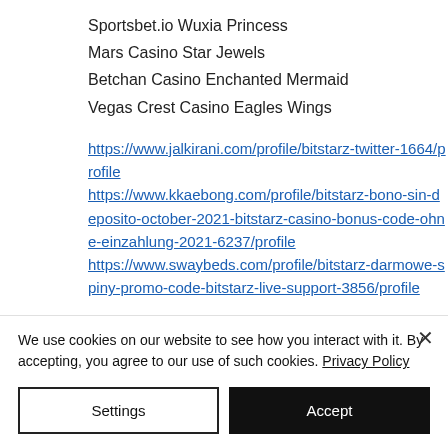Sportsbet.io Wuxia Princess
Mars Casino Star Jewels
Betchan Casino Enchanted Mermaid
Vegas Crest Casino Eagles Wings
https://www.jalkirani.com/profile/bitstarz-twitter-1664/profile https://www.kkaebong.com/profile/bitstarz-bono-sin-deposito-october-2021-bitstarz-casino-bonus-code-ohne-einzahlung-2021-6237/profile https://www.swaybeds.com/profile/bitstarz-darmowe-spiny-promo-code-bitstarz-live-support-3856/profile
We use cookies on our website to see how you interact with it. By accepting, you agree to our use of such cookies. Privacy Policy